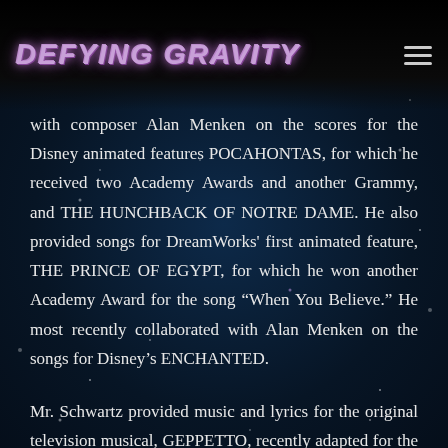DEFYING GRAVITY
with composer Alan Menken on the scores for the Disney animated features POCAHONTAS, for which he received two Academy Awards and another Grammy, and THE HUNCHBACK OF NOTRE DAME. He also provided songs for DreamWorks' first animated feature, THE PRINCE OF EGYPT, for which he won another Academy Award for the song “When You Believe.” He most recently collaborated with Alan Menken on the songs for Disney’s ENCHANTED.
Mr. Schwartz provided music and lyrics for the original television musical, GEPPETTO, recently adapted for the stage as MY SON